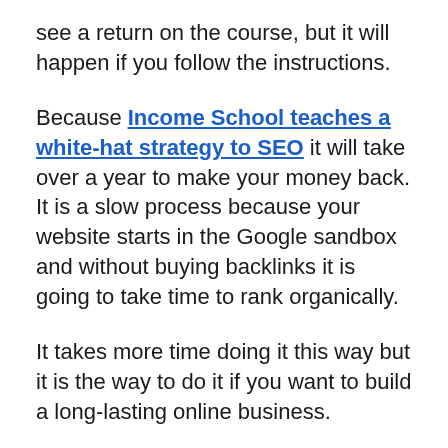see a return on the course, but it will happen if you follow the instructions.
Because Income School teaches a white-hat strategy to SEO it will take over a year to make your money back. It is a slow process because your website starts in the Google sandbox and without buying backlinks it is going to take time to rank organically.
It takes more time doing it this way but it is the way to do it if you want to build a long-lasting online business.